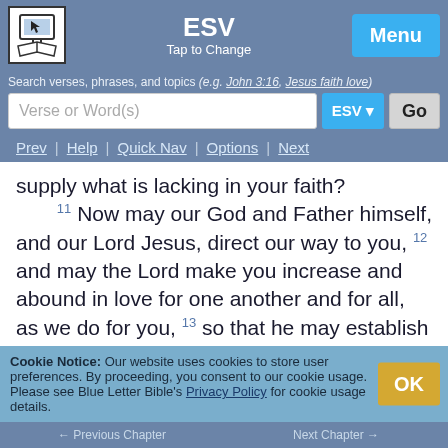[Figure (logo): Blue Letter Bible logo — open book with cursor icon on white background]
ESV
Tap to Change
Menu
Search verses, phrases, and topics (e.g. John 3:16, Jesus faith love)
Verse or Word(s)
ESV ▾
Go
Prev | Help | Quick Nav | Options | Next
supply what is lacking in your faith? 11 Now may our God and Father himself, and our Lord Jesus, direct our way to you, 12 and may the Lord make you increase and abound in love for one another and for all, as we do for you, 13 so that he may establish your hearts blameless in holiness before our God and Father, at the coming of our Lord Jesus with all his saints.
Cookie Notice: Our website uses cookies to store user preferences. By proceeding, you consent to our cookie usage. Please see Blue Letter Bible's Privacy Policy for cookie usage details.
OK
← Previous Chapter   Next Chapter →